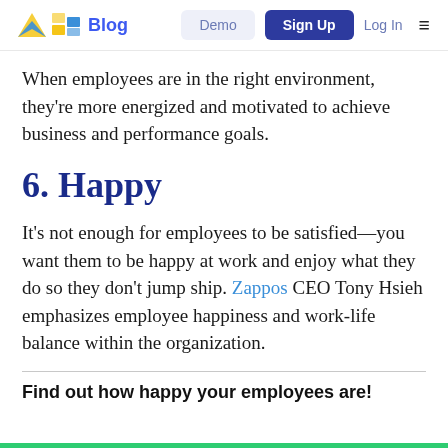Blog | Demo | Sign Up | Log In
When employees are in the right environment, they're more energized and motivated to achieve business and performance goals.
6. Happy
It's not enough for employees to be satisfied—you want them to be happy at work and enjoy what they do so they don't jump ship. Zappos CEO Tony Hsieh emphasizes employee happiness and work-life balance within the organization.
Find out how happy your employees are!